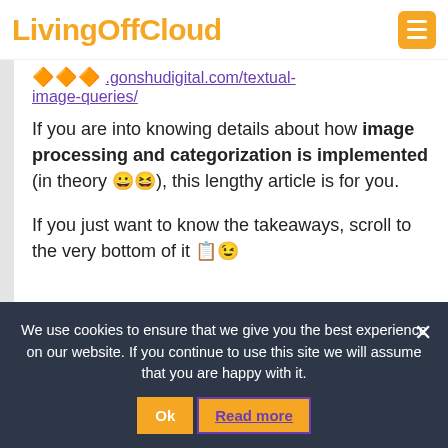LivingOffCloud
🔶🔶🔶 .gonshudigital.com/textual-image-queries/
If you are into knowing details about how image processing and categorization is implemented (in theory 😀😆), this lengthy article is for you.
If you just want to know the takeaways, scroll to the very bottom of it 📋😉
We use cookies to ensure that we give you the best experience on our website. If you continue to use this site we will assume that you are happy with it.